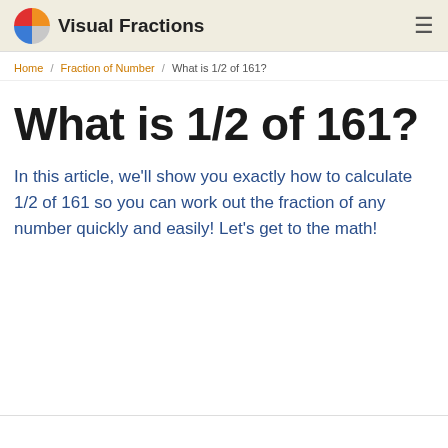Visual Fractions
Home / Fraction of Number / What is 1/2 of 161?
What is 1/2 of 161?
In this article, we'll show you exactly how to calculate 1/2 of 161 so you can work out the fraction of any number quickly and easily! Let's get to the math!